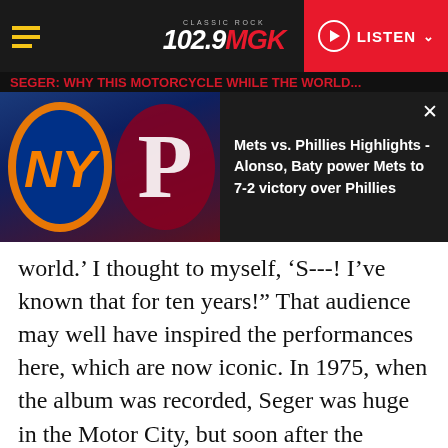102.9 MGK Classic Rock | LISTEN
[Figure (screenshot): Mets vs. Phillies baseball highlights popup overlay showing team logos on dark background with headline text]
Mets vs. Phillies Highlights - Alonso, Baty power Mets to 7-2 victory over Phillies
world.' I thought to myself, ‘S---! I’ve known that for ten years!” That audience may well have inspired the performances here, which are now iconic. In 1975, when the album was recorded, Seger was huge in the Motor City, but soon after the release of this album, he became one of America’s biggest rock stars.